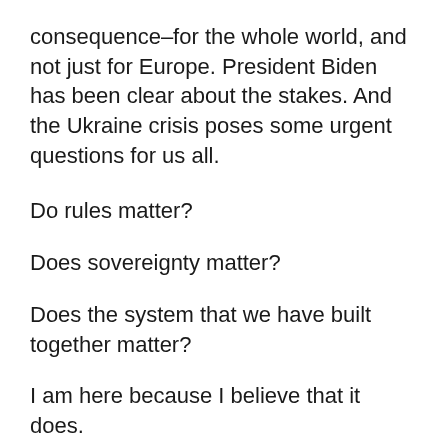consequence–for the whole world, and not just for Europe. President Biden has been clear about the stakes. And the Ukraine crisis poses some urgent questions for us all.
Do rules matter?
Does sovereignty matter?
Does the system that we have built together matter?
I am here because I believe that it does.
And I am here because the rules-based